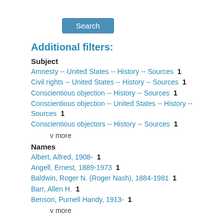[Figure (other): Blue 'Search' button]
Additional filters:
Subject
Amnesty -- United States -- History -- Sources  1
Civil rights -- United States -- History -- Sources  1
Conscientious objection -- History -- Sources  1
Conscientious objection -- United States -- History -- Sources  1
Conscientious objectors -- History -- Sources  1
v more
Names
Albert, Alfred, 1908-  1
Angell, Ernest, 1889-1973  1
Baldwin, Roger N. (Roger Nash), 1884-1981  1
Barr, Allen H.  1
Benson, Purnell Handy, 1913-  1
v more